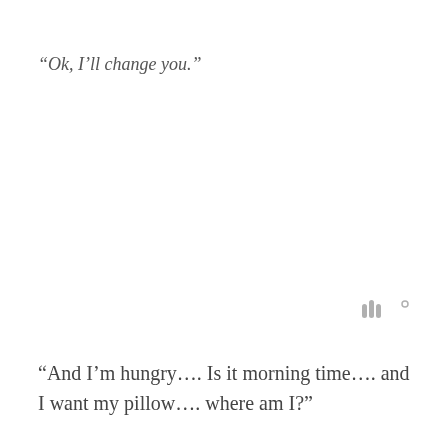“Ok, I’ll change you.”
[Figure (logo): Small gray Wattpad logo marks in lower right area]
“And I’m hungry…. Is it morning time…. and I want my pillow…. where am I?”